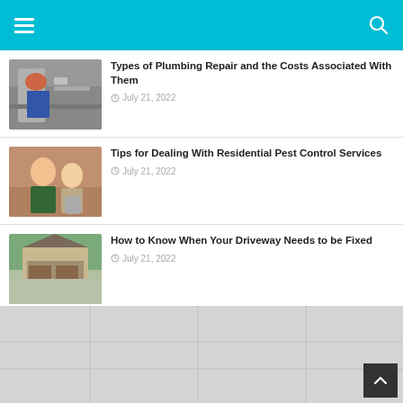Navigation header with hamburger menu and search icon
[Figure (photo): Plumbing repair thumbnail - person working under sink]
Types of Plumbing Repair and the Costs Associated With Them
July 21, 2022
[Figure (photo): Pest control thumbnail - two people doing pest control]
Tips for Dealing With Residential Pest Control Services
July 21, 2022
[Figure (photo): Driveway thumbnail - house with driveway]
How to Know When Your Driveway Needs to be Fixed
July 21, 2022
[Figure (map): Map/gray area at the bottom of the page]